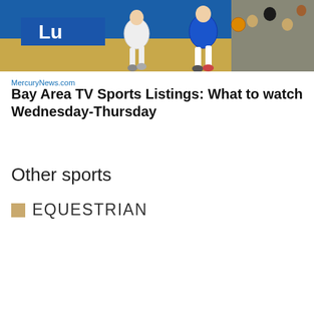[Figure (photo): Basketball players running on court, one in white uniform and one in blue uniform, during a game]
MercuryNews.com
Bay Area TV Sports Listings: What to watch Wednesday-Thursday
Other sports
EQUESTRIAN